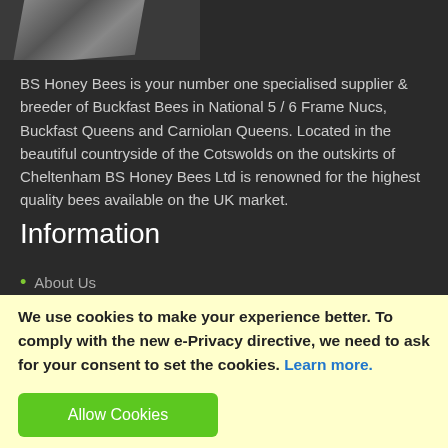[Figure (photo): Partial view of a metallic or wooden object (possibly a hive tool or frame) on a dark background, cropped at top of page]
BS Honey Bees is your number one specialised supplier & breeder of Buckfast Bees in National 5 / 6 Frame Nucs, Buckfast Queens and Carniolan Queens. Located in the beautiful countryside of the Cotswolds on the outskirts of Cheltenham BS Honey Bees Ltd is renowned for the highest quality bees available on the UK market.
Information
About Us
We use cookies to make your experience better. To comply with the new e-Privacy directive, we need to ask for your consent to set the cookies. Learn more.
Allow Cookies